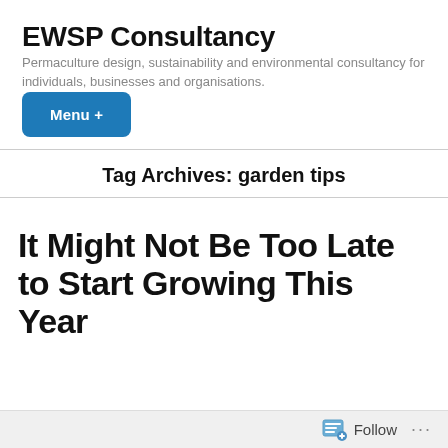EWSP Consultancy
Permaculture design, sustainability and environmental consultancy for individuals, businesses and organisations.
Menu +
Tag Archives: garden tips
It Might Not Be Too Late to Start Growing This Year
Follow ...